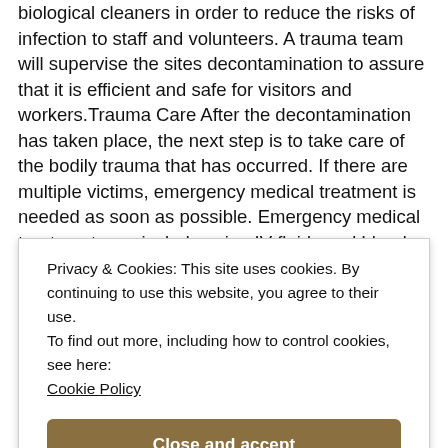biological cleaners in order to reduce the risks of infection to staff and volunteers. A trauma team will supervise the sites decontamination to assure that it is efficient and safe for visitors and workers.Trauma Care After the decontamination has taken place, the next step is to take care of the bodily trauma that has occurred. If there are multiple victims, emergency medical treatment is needed as soon as possible. Emergency medical treatment may include using IV fluids and blood transfusions. A trained technician will
Privacy & Cookies: This site uses cookies. By continuing to use this website, you agree to their use.
To find out more, including how to control cookies, see here: Cookie Policy
Close and accept
CRIME SCENE CLEANUP · 24X7 ASSISTANCE